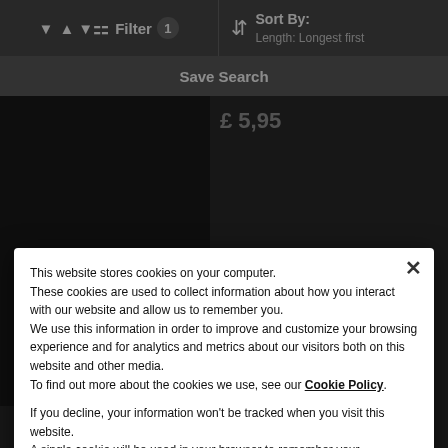Filter 1   Sort By: Length: Longest first
Save Search
This website stores cookies on your computer. These cookies are used to collect information about how you interact with our website and allow us to remember you. We use this information in order to improve and customize your browsing experience and for analytics and metrics about our visitors both on this website and other media. To find out more about the cookies we use, see our Cookie Policy.
If you decline, your information won't be tracked when you visit this website. A single cookie will be used in your browser to remember your preference not to be tracked.
Deny
Accept Cookies